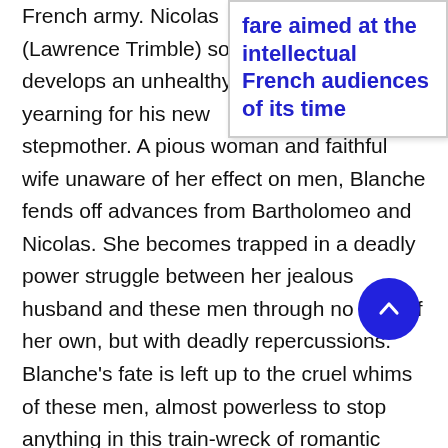[Figure (other): Pull-quote callout box with bold blue text reading 'fare aimed at the intellectual French audiences of its time']
French army. Nicolas (Lawrence Trimble) soon develops an unhealthy yearning for his new stepmother. A pious woman and faithful wife unaware of her effect on men, Blanche fends off advances from Bartholomeo and Nicolas. She becomes trapped in a deadly power struggle between her jealous husband and these men through no fault of her own, b[utton overlaps] deadly repercussions. Blanche's fate is left up to the cruel whims of these men, almost powerless to stop anything in this train-wreck of romantic infatuation